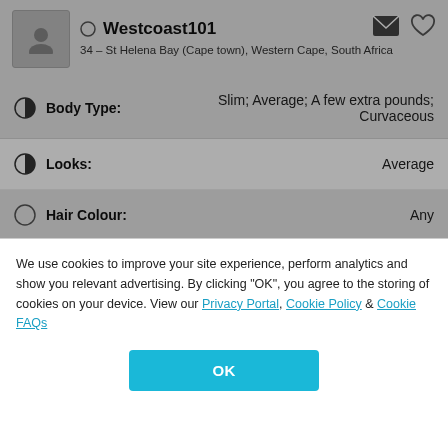Westcoast101
34 – St Helena Bay (Cape town), Western Cape, South Africa
Body Type: Slim; Average; A few extra pounds; Curvaceous
Looks: Average
Hair Colour: Any
Eye Colour: Any
Has a Photo: Not important at all
We use cookies to improve your site experience, perform analytics and show you relevant advertising. By clicking "OK", you agree to the storing of cookies on your device. View our Privacy Portal, Cookie Policy & Cookie FAQs